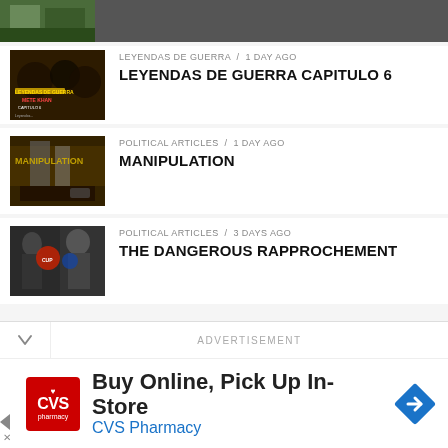[Figure (screenshot): Top partial thumbnail image, partially cropped at top of page]
LEYENDAS DE GUERRA / 1 day ago
LEYENDAS DE GUERRA CAPITULO 6
POLITICAL ARTICLES / 1 day ago
MANIPULATION
POLITICAL ARTICLES / 3 days ago
THE DANGEROUS RAPPROCHEMENT
ADVERTISEMENT
Buy Online, Pick Up In-Store
CVS Pharmacy